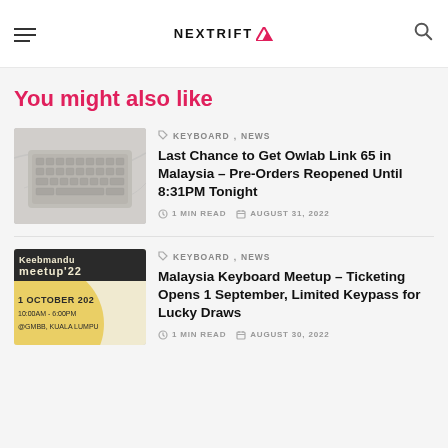NEXTRIFT
You might also like
[Figure (photo): Silver/white mechanical keyboard on a marble surface]
KEYBOARD, NEWS
Last Chance to Get Owlab Link 65 in Malaysia – Pre-Orders Reopened Until 8:31PM Tonight
1 MIN READ · AUGUST 31, 2022
[Figure (photo): Keebmandu meetup 2022 poster showing 1 October 2022, 10:00AM - 6:00PM, @GMBB, Kuala Lumpur, yellow and cream design]
KEYBOARD, NEWS
Malaysia Keyboard Meetup – Ticketing Opens 1 September, Limited Keypass for Lucky Draws
1 MIN READ · AUGUST 30, 2022